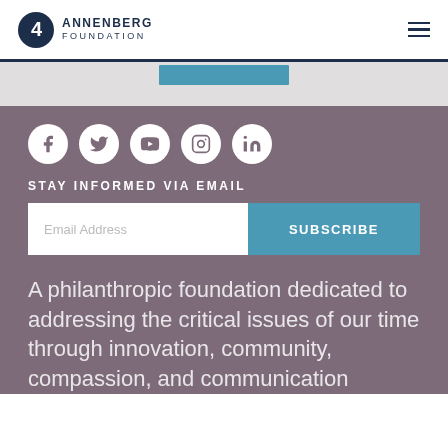ANNENBERG FOUNDATION
[Figure (logo): Annenberg Foundation logo — circular emblem with number 4 and organization name]
STAY INFORMED VIA EMAIL
Email Address
SUBSCRIBE
A philanthropic foundation dedicated to addressing the critical issues of our time through innovation, community, compassion, and communication